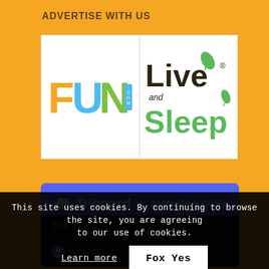ADVERTISE WITH US
[Figure (logo): FUN.com logo — colorful letters F (orange), U (blue), N (green) with .com in a blue vertical box]
[Figure (logo): Live and Sleep logo — 'Live' in dark brown/black, 'and' in smaller italic text, 'Sleep' in green with a leaf accent, registration mark]
[Figure (infographic): Discord server widget showing Discord logo, '34 Members Online', dark section with 'The Stage' channel and 'MEMBERS ONLINE' label with avatar]
This site uses cookies. By continuing to browse the site, you are agreeing to our use of cookies.
Learn more
Fox Yes